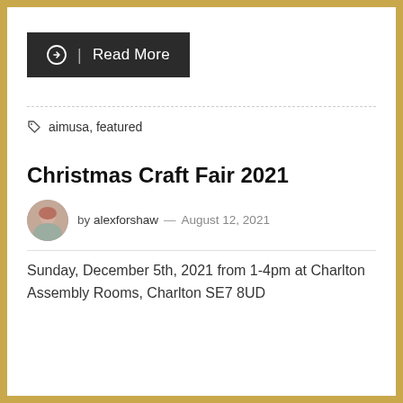[Figure (other): Dark button with circle-arrow icon and text 'Read More']
aimusa, featured
Christmas Craft Fair 2021
by alexforshaw — August 12, 2021
Sunday, December 5th, 2021 from 1-4pm at Charlton Assembly Rooms, Charlton SE7 8UD